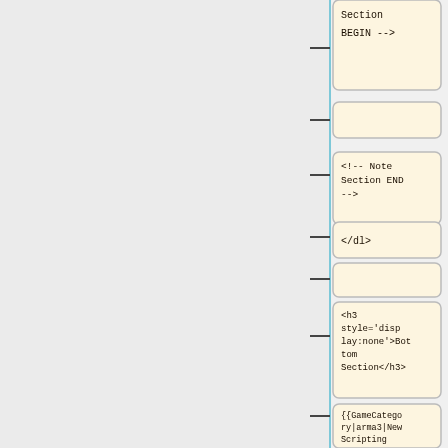[Figure (flowchart): A vertical flowchart showing a sequence of code/template nodes connected by a vertical blue line with horizontal dash connectors. Nodes contain code snippets: 'Section BEGIN -->', an empty node, '<!-- Note Section END -->', '</dl>', an empty node, '<h3 style=\'display:none\'>Bottom Section</h3>', and '{{GameCategory|arma3|New Scripting Commands}}'.]